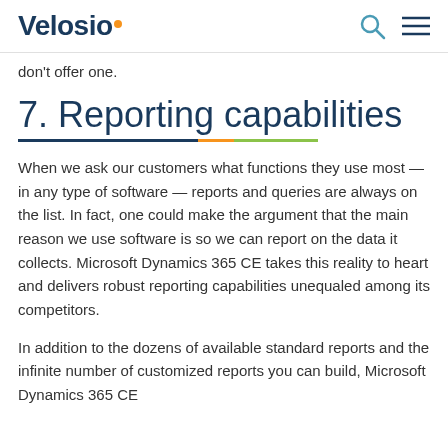Velosio
don't offer one.
7. Reporting capabilities
When we ask our customers what functions they use most — in any type of software — reports and queries are always on the list. In fact, one could make the argument that the main reason we use software is so we can report on the data it collects. Microsoft Dynamics 365 CE takes this reality to heart and delivers robust reporting capabilities unequaled among its competitors.
In addition to the dozens of available standard reports and the infinite number of customized reports you can build, Microsoft Dynamics 365 CE